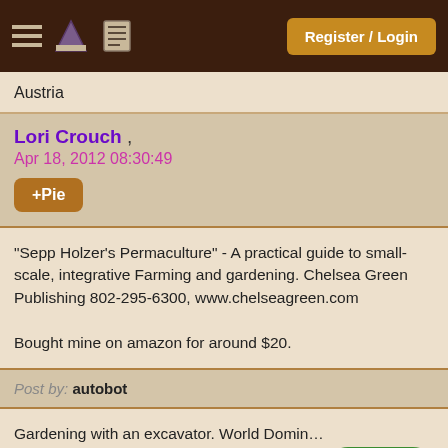Register / Login
Austria
Lori Crouch , Apr 18, 2012 08:30:49
+Pie
"Sepp Holzer's Permaculture" - A practical guide to small-scale, integrative Farming and gardening. Chelsea Green Publishing 802-295-6300, www.chelseagreen.com

Bought mine on amazon for around $20.
Post by: autobot
Gardening with an excavator. World Domination Gardening 3-DVD set: richsoil.com/wdg